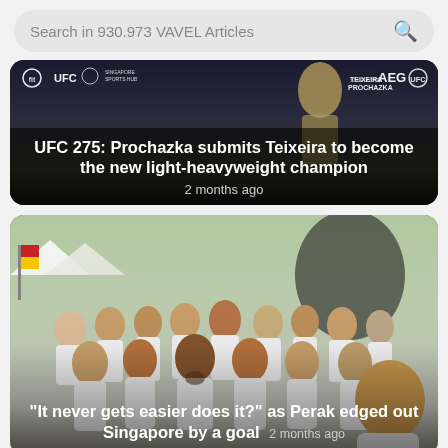Search in 930.973 VAVEL Articles
[Figure (photo): UFC 275 promotional banner with UFC and AEG logos and a fighter in the background]
UFC 275: Prochazka submits Teixeira to become the new light-heavyweight champion
2 months ago
[Figure (photo): Group photo of a sports team in white uniforms with Singapore flags, posing outdoors at an event]
"It never gets easier does it?" as Perak edged out Singapore by a goal
2 months ago